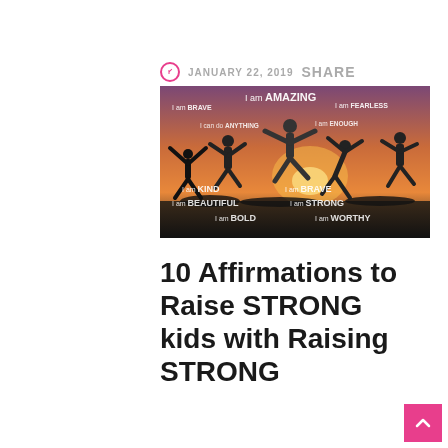JANUARY 22, 2019  SHARE
[Figure (photo): Silhouette of children jumping at sunset with motivational affirmations text overlaid: 'I am BRAVE', 'I am AMAZING', 'I am FEARLESS', 'I can do ANYTHING', 'I am ENOUGH', 'I am KIND', 'I am BRAVE', 'I am BEAUTIFUL', 'I am STRONG', 'I am BOLD', 'I am WORTHY']
10 Affirmations to Raise STRONG kids with Raising STRONG